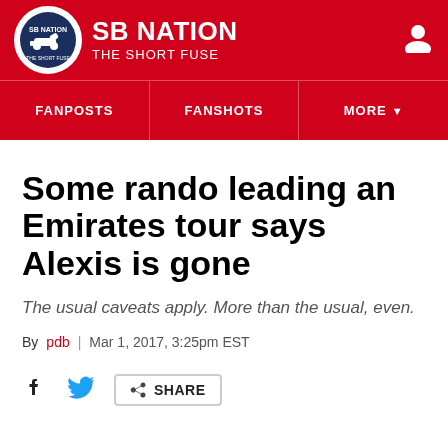SB NATION | THE SHORT FUSE
FANPOSTS | FANSHOTS | MORE
Some rando leading an Emirates tour says Alexis is gone
The usual caveats apply. More than the usual, even.
By pdb | Mar 1, 2017, 3:25pm EST
SHARE